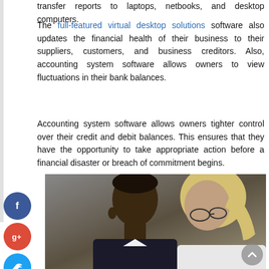transfer reports to laptops, netbooks, and desktop computers.
The full-featured virtual desktop solutions software also updates the financial health of their business to their suppliers, customers, and business creditors. Also, accounting system software allows owners to view fluctuations in their bank balances.
Accounting system software allows owners tighter control over their credit and debit balances. This ensures that they have the opportunity to take appropriate action before a financial disaster or breach of commitment begins.
[Figure (photo): Two people (one with dark skin and short hair, one with light/blonde hair) looking at something together, likely a document or screen.]